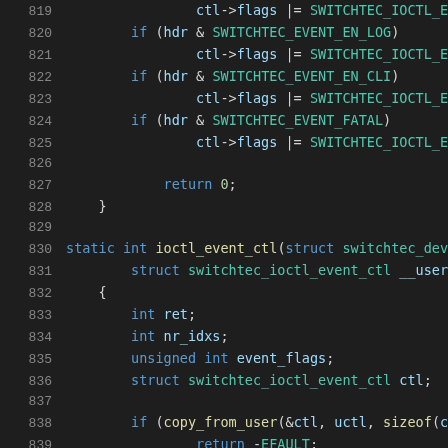Source code listing, lines 819–839, C language kernel driver code showing ioctl_event_ctl function.